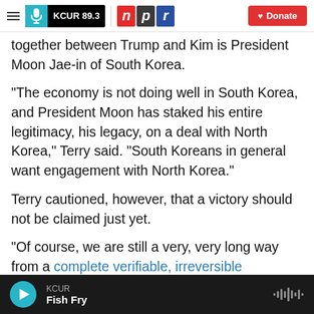KCUR 89.3 | npr | Donate
together between Trump and Kim is President Moon Jae-in of South Korea.
"The economy is not doing well in South Korea, and President Moon has staked his entire legitimacy, his legacy, on a deal with North Korea," Terry said. "South Koreans in general want engagement with North Korea."
Terry cautioned, however, that a victory should not be claimed just yet.
"Of course, we are still a very, very long way from a complete verifiable, irreversible denuclearization,"
KCUR | Fish Fry